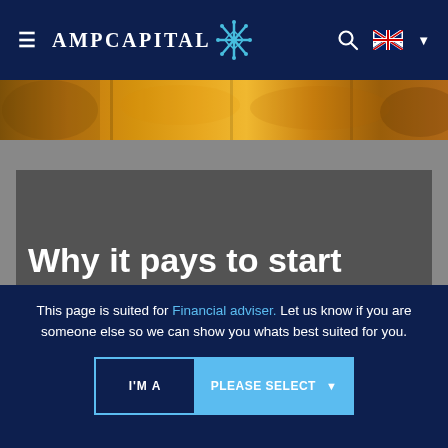AMP CAPITAL — navigation bar with hamburger menu, logo, search icon, Australian flag, dropdown
[Figure (photo): Autumn foliage hero image strip in warm orange and golden tones]
Why it pays to start
This page is suited for Financial adviser. Let us know if you are someone else so we can show you whats best suited for you.
I'M A   PLEASE SELECT ▾